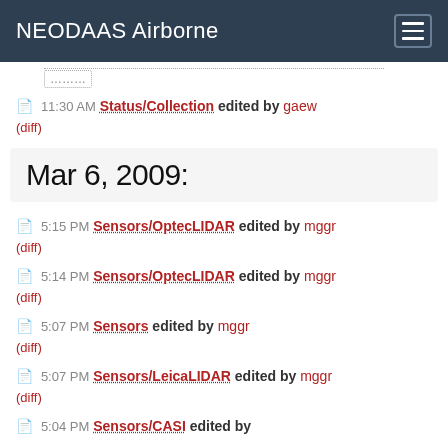NEODAAS Airborne
11:30 AM Status/Collection edited by gaew (diff)
Mar 6, 2009:
5:15 PM Sensors/OptecLIDAR edited by mggr (diff)
5:14 PM Sensors/OptecLIDAR edited by mggr (diff)
5:07 PM Sensors edited by mggr (diff)
5:07 PM Sensors/LeicaLIDAR edited by mggr (diff)
5:04 PM Sensors/CASI edited by ...